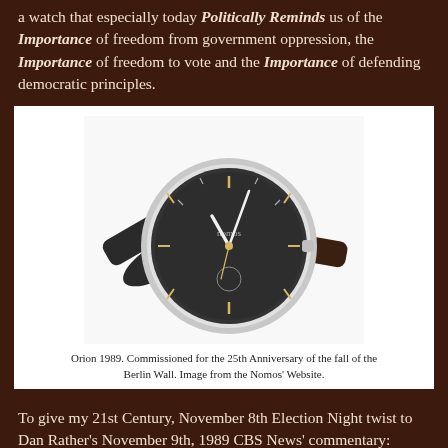a watch that especially today Politically Reminds us of the Importance of freedom from government oppression, the Importance of freedom to vote and the Importance of defending democratic principles.
[Figure (photo): A wristwatch (Nomos Orion 1989) with a dark face and leather strap on a white background.]
Orion 1989. Commissioned for the 25th Anniversary of the fall of the Berlin Wall. Image from the Nomos' Website.
To give my 21st Century, November 8th Election Night twist to Dan Rather's November 9th, 1989 CBS News' commentary:
Our Time Should Remind Us that In our Democracy,